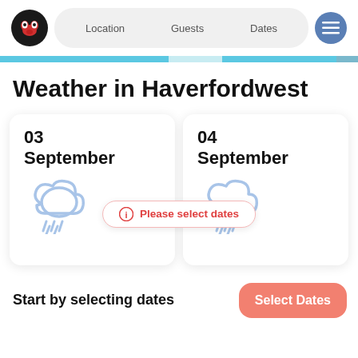Location   Guests   Dates
Weather in Haverfordwest
[Figure (screenshot): Two date cards showing 03 September and 04 September, each with a rain cloud icon. A tooltip overlay reads 'Please select dates'.]
Start by selecting dates
Select Dates